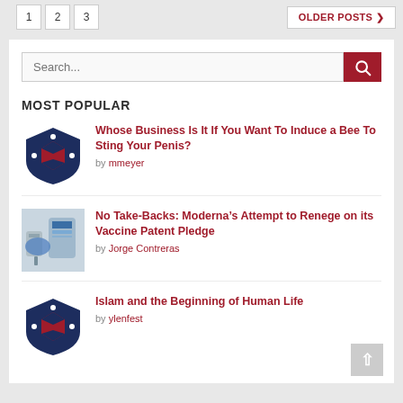1  2  3  OLDER POSTS >
Search...
MOST POPULAR
Whose Business Is It If You Want To Induce a Bee To Sting Your Penis? by mmeyer
No Take-Backs: Moderna’s Attempt to Renege on its Vaccine Patent Pledge by Jorge Contreras
Islam and the Beginning of Human Life by ylenfest